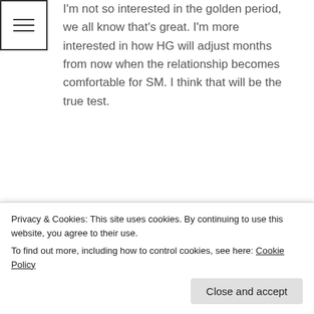navigation menu icon
I'm not so interested in the golden period, we all know that's great. I'm more interested in how HG will adjust months from now when the relationship becomes comfortable for SM. I think that will be the true test.
Loading...
K says:
Privacy & Cookies: This site uses cookies. By continuing to use this website, you agree to their use. To find out more, including how to control cookies, see here: Cookie Policy
Close and accept